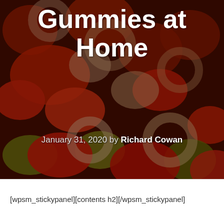[Figure (photo): Close-up photo of colorful gummy candies, predominantly red with some clear/translucent and yellow-green gummies, dark reddish background.]
Gummies at Home
January 31, 2020 by Richard Cowan
[wpsm_stickypanel][contents h2][/wpsm_stickypanel]